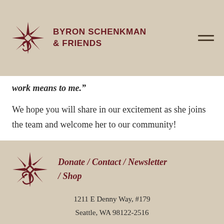BYRON SCHENKMAN & FRIENDS
work means to me.”
We hope you will share in our excitement as she joins the team and welcome her to our community!
Donate / Contact / Newsletter / Shop
1211 E Denny Way, #179
Seattle, WA 98122-2516